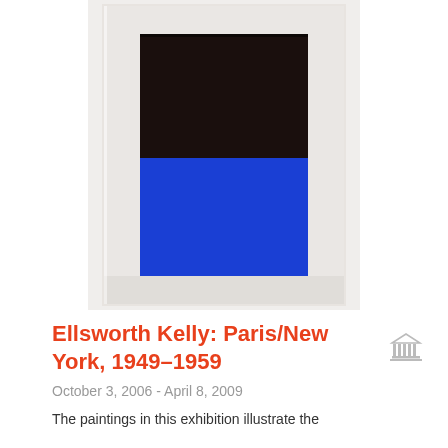[Figure (photo): Photograph of a framed painting with a vertical rectangular format. The canvas is divided into two horizontal fields: the upper portion is a very dark near-black brown, and the lower portion is a vivid royal blue. The painting is displayed in a white painted wooden frame against a white wall.]
Ellsworth Kelly: Paris/New York, 1949–1959
October 3, 2006 - April 8, 2009
The paintings in this exhibition illustrate the